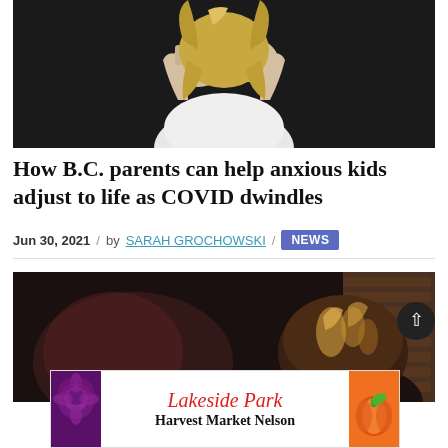[Figure (photo): Child with blonde hair covering face with both hands, wearing white top, dark background]
How B.C. parents can help anxious kids adjust to life as COVID dwindles
Jun 30, 2021 / by SARAH GROCHOWSKI / NEWS
[Figure (photo): Person with highlighted brown hair viewed from behind, dark blurred background with brick wall]
[Figure (infographic): Lakeside Park Harvest Market Nelson advertisement banner with decorative produce imagery]